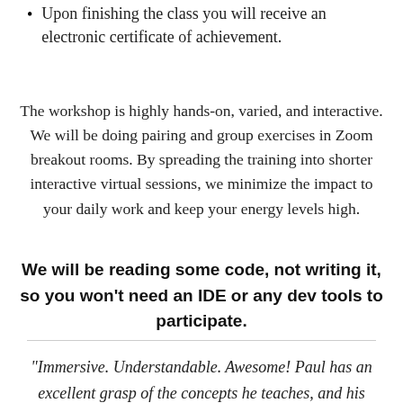Upon finishing the class you will receive an electronic certificate of achievement.
The workshop is highly hands-on, varied, and interactive. We will be doing pairing and group exercises in Zoom breakout rooms. By spreading the training into shorter interactive virtual sessions, we minimize the impact to your daily work and keep your energy levels high.
We will be reading some code, not writing it, so you won't need an IDE or any dev tools to participate.
"Immersive. Understandable. Awesome! Paul has an excellent grasp of the concepts he teaches, and his